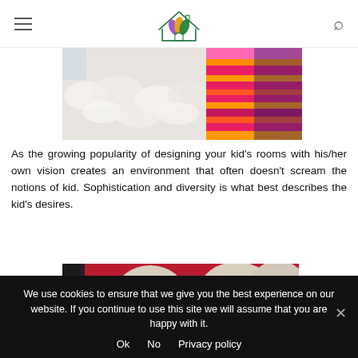[Logo: house with colorful leaves] hamburger menu | search icon
[Figure (photo): Top portion of a child's bedroom showing a fluffy white throw or pillow on the left and colorful striped fabric (pink, orange, red) on the right, likely bedding or cushions.]
As the growing popularity of designing your kid's rooms with his/her own vision creates an environment that often doesn't scream the notions of kid. Sophistication and diversity is what best describes the kid's desires.
[Figure (photo): A red wall painted with large cream/beige polka dots, with a dark patterned curtain visible on the left edge. Part of a child's room interior.]
We use cookies to ensure that we give you the best experience on our website. If you continue to use this site we will assume that you are happy with it.
Ok   No   Privacy policy